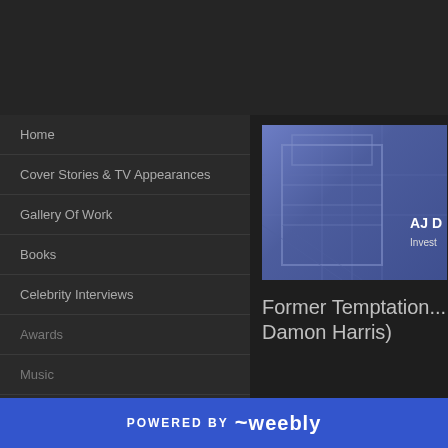Home
Cover Stories & TV Appearances
Gallery Of Work
Books
Celebrity Interviews
Awards
Music
[Figure (screenshot): Thumbnail showing a building structure with bluish overlay, text reading AJ D... and Invest...]
Former Temptation... Damon Harris)
POWERED BY weebly